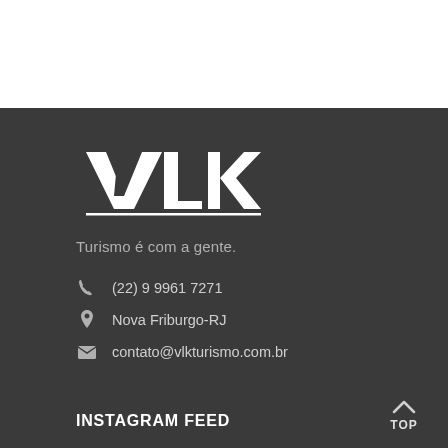[Figure (logo): VLK Turismo logo — white letters VLK with a horizontal line beneath and TURISMO text]
Turismo é com a gente.
(22) 9 9961 7271
Nova Friburgo-RJ
contato@vlkturismo.com.br
INSTAGRAM FEED